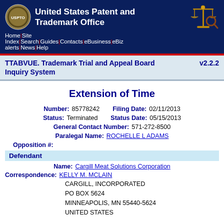United States Patent and Trademark Office
TTABVUE. Trademark Trial and Appeal Board Inquiry System v2.2.2
Extension of Time
Number: 85778242   Filing Date: 02/11/2013
Status: Terminated   Status Date: 05/15/2013
General Contact Number: 571-272-8500
Paralegal Name: ROCHELLE L ADAMS
Opposition #:
Defendant
Name: Cargill Meat Solutions Corporation
Correspondence: KELLY M. MCLAIN
CARGILL, INCORPORATED
PO BOX 5624
MINNEAPOLIS, MN 55440-5624
UNITED STATES